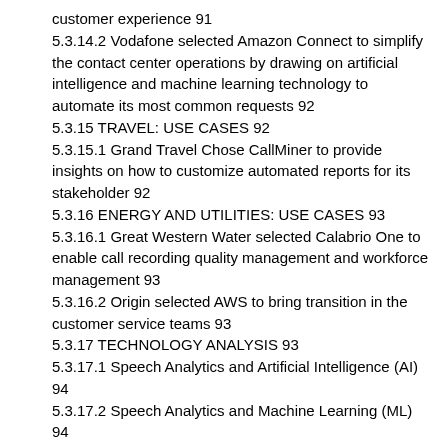customer experience 91
5.3.14.2 Vodafone selected Amazon Connect to simplify the contact center operations by drawing on artificial intelligence and machine learning technology to automate its most common requests 92
5.3.15 TRAVEL: USE CASES 92
5.3.15.1 Grand Travel Chose CallMiner to provide insights on how to customize automated reports for its stakeholder 92
5.3.16 ENERGY AND UTILITIES: USE CASES 93
5.3.16.1 Great Western Water selected Calabrio One to enable call recording quality management and workforce management 93
5.3.16.2 Origin selected AWS to bring transition in the customer service teams 93
5.3.17 TECHNOLOGY ANALYSIS 93
5.3.17.1 Speech Analytics and Artificial Intelligence (AI) 94
5.3.17.2 Speech Analytics and Machine Learning (ML) 94
5.3.17.3 Speech Analytics and Natural Language Processing (NLP) 94